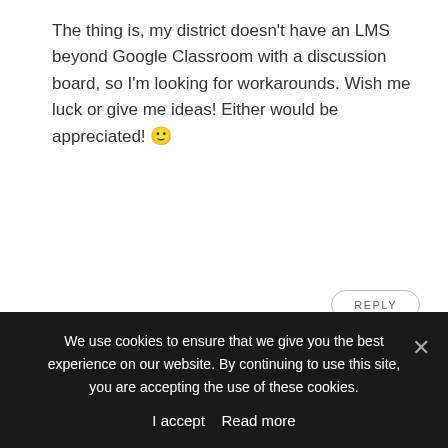The thing is, my district doesn’t have an LMS beyond Google Classroom with a discussion board, so I’m looking for workarounds. Wish me luck or give me ideas! Either would be appreciated! 🙂
REPLY
[Figure (photo): Circular profile photo of Holly Burcham, a woman with short brown hair and glasses, wearing a dark blouse with white dots, standing in front of a red brick wall.]
Holly Burcham says:
July 30, 2020
Hi Jordana! I would add Flipgrid, Yo Teach!,
We use cookies to ensure that we give you the best experience on our website. By continuing to use this site, you are accepting the use of these cookies.
I accept   Read more